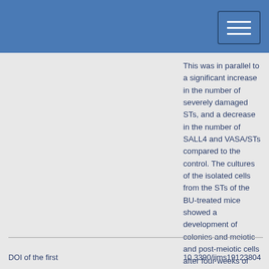This was in parallel to a significant increase in the number of severely damaged STs, and a decrease in the number of SALL4 and VASA/STs compared to the control. The cultures of the isolated cells from the STs of the BU-treated mice showed a development of colonies and meiotic and post-meiotic cells after four weeks of culture. The addition of homogenates from adult GFP mice to those cultures induced the development of sperm-like cells after four weeks of culture. This is the first study demonstrating the presence of biologically active spermatogonial cells in the testicular tissue of BU-treated immature mice, and their capacity to develop sperm-like cells in vitro.
DOI of the first
10.3390/ijms19123804